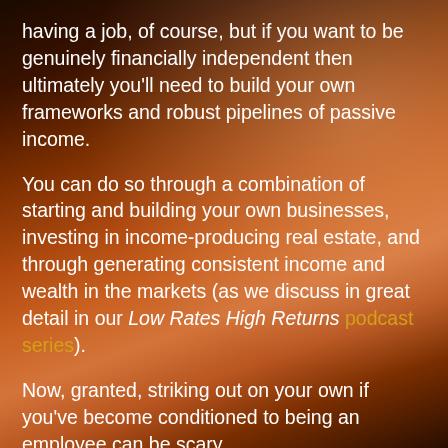having a job, of course, but if you want to be genuinely financially independent then ultimately you'll need to build your own frameworks and robust pipelines of passive income.
You can do so through a combination of starting and building your own businesses, investing in income-producing real estate, and through generating consistent income and wealth in the markets (as we discuss in great detail in our Low Rates High Returns podcast series).
Now, granted, striking out on your own if you've become conditioned to being an employee can be scary.
It was scary for me as well!
But I guessed that in my case the alternative was